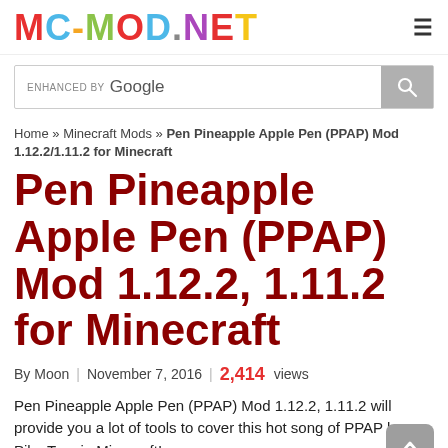MC-MOD.NET
ENHANCED BY Google
Home » Minecraft Mods » Pen Pineapple Apple Pen (PPAP) Mod 1.12.2/1.11.2 for Minecraft
Pen Pineapple Apple Pen (PPAP) Mod 1.12.2, 1.11.2 for Minecraft
By Moon | November 7, 2016 | 2,414 views
Pen Pineapple Apple Pen (PPAP) Mod 1.12.2, 1.11.2 will provide you a lot of tools to cover this hot song of PPAP by Piko Taro in Minecraft!